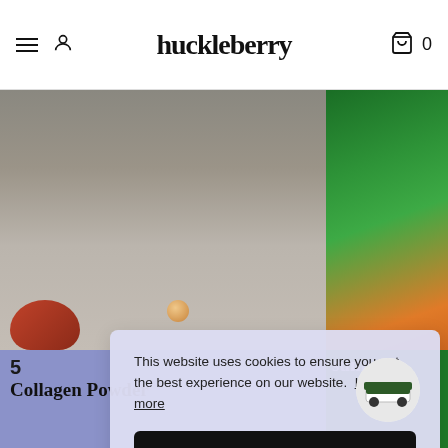huckleberry
[Figure (photo): A blurred teapot lid knob on a grey background, with a red teapot at lower left]
[Figure (photo): Close-up of green leafy vegetables and an orange carrot]
This website uses cookies to ensure you get the best experience on our website. Learn more
Got it!
5
Collagen Powder
summe